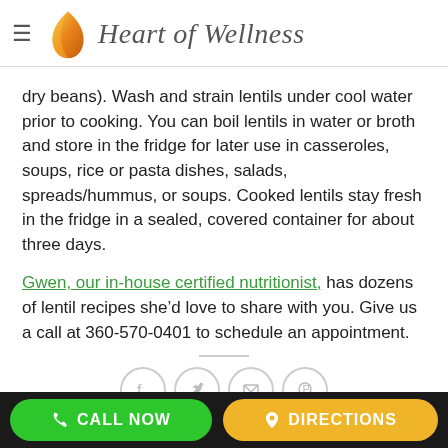Heart of Wellness
dry beans). Wash and strain lentils under cool water prior to cooking. You can boil lentils in water or broth and store in the fridge for later use in casseroles, soups, rice or pasta dishes, salads, spreads/hummus, or soups. Cooked lentils stay fresh in the fridge in a sealed, covered container for about three days.
Gwen, our in-house certified nutritionist, has dozens of lentil recipes she’d love to share with you. Give us a call at 360-570-0401 to schedule an appointment.
[Figure (other): Social media share icons: Facebook, Twitter, Email, Pinterest]
CALL NOW   DIRECTIONS